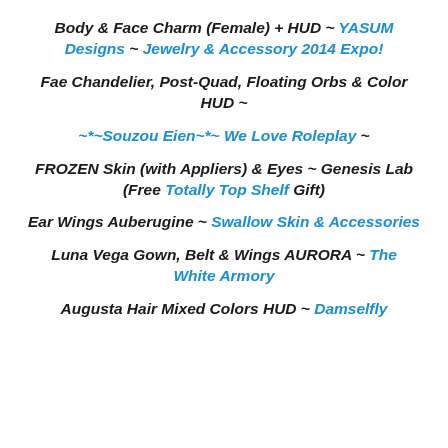Body & Face Charm (Female) + HUD ~ YASUM Designs ~ Jewelry & Accessory 2014 Expo!
Fae Chandelier, Post-Quad, Floating Orbs & Color HUD ~
~*~Souzou Eien~*~ We Love Roleplay ~
FROZEN Skin (with Appliers) & Eyes ~ Genesis Lab (Free Totally Top Shelf Gift)
Ear Wings Auberugine ~ Swallow Skin & Accessories
Luna Vega Gown, Belt & Wings AURORA ~ The White Armory
Augusta Hair Mixed Colors HUD ~ Damselfly